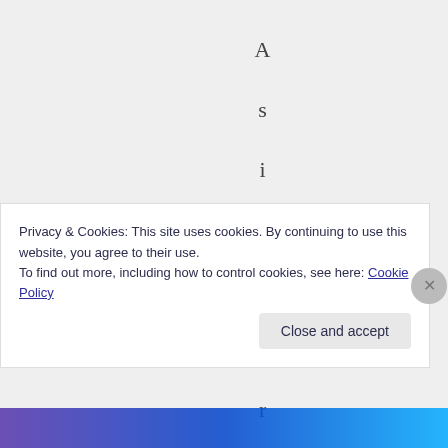[Figure (screenshot): Vertical text spelling 'Asidefrom b' displayed letter by letter top to bottom, centered in a gray background area]
Privacy & Cookies: This site uses cookies. By continuing to use this website, you agree to their use.
To find out more, including how to control cookies, see here: Cookie Policy
Close and accept